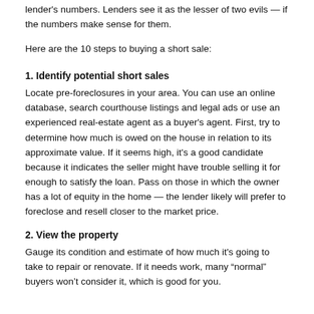lender's numbers. Lenders see it as the lesser of two evils — if the numbers make sense for them.
Here are the 10 steps to buying a short sale:
1. Identify potential short sales
Locate pre-foreclosures in your area. You can use an online database, search courthouse listings and legal ads or use an experienced real-estate agent as a buyer's agent. First, try to determine how much is owed on the house in relation to its approximate value. If it seems high, it's a good candidate because it indicates the seller might have trouble selling it for enough to satisfy the loan. Pass on those in which the owner has a lot of equity in the home — the lender likely will prefer to foreclose and resell closer to the market price.
2. View the property
Gauge its condition and estimate of how much it's going to take to repair or renovate. If it needs work, many “normal” buyers won’t consider it, which is good for you.